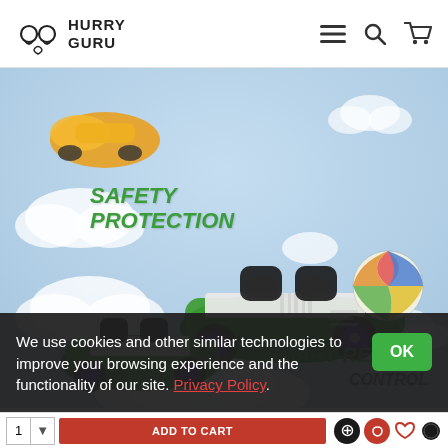HURRY GURU
[Figure (photo): Product page screenshot of Hurry Guru e-commerce site showing a race car shaped children's bed with black seats, green body and purple wheels, with text 'SAFETY PROTECTION' and 'SMART REMOTE CONTROL' overlaid on a light blue sky background with clouds and a beach ball]
We use cookies and other similar technologies to improve your browsing experience and the functionality of our site. Privacy Policy.
1 | ADD TO CART